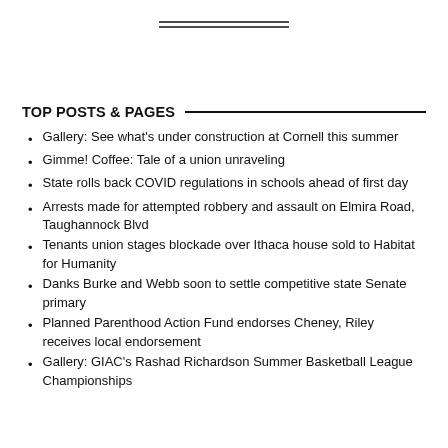[Figure (other): Decorative double horizontal rule lines centered at top of page]
TOP POSTS & PAGES
Gallery: See what's under construction at Cornell this summer
Gimme! Coffee: Tale of a union unraveling
State rolls back COVID regulations in schools ahead of first day
Arrests made for attempted robbery and assault on Elmira Road, Taughannock Blvd
Tenants union stages blockade over Ithaca house sold to Habitat for Humanity
Danks Burke and Webb soon to settle competitive state Senate primary
Planned Parenthood Action Fund endorses Cheney, Riley receives local endorsement
Gallery: GIAC's Rashad Richardson Summer Basketball League Championships